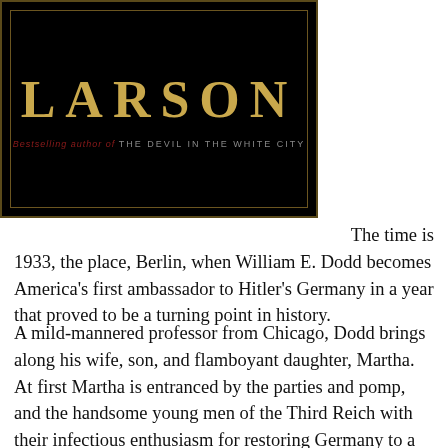[Figure (illustration): Book cover with black background and gold border showing author name LARSON in large gold letters, with red and grey text reading 'Bestselling author of THE DEVIL IN THE WHITE CITY']
The time is 1933, the place, Berlin, when William E. Dodd becomes America's first ambassador to Hitler's Germany in a year that proved to be a turning point in history.
A mild-mannered professor from Chicago, Dodd brings along his wife, son, and flamboyant daughter, Martha. At first Martha is entranced by the parties and pomp, and the handsome young men of the Third Reich with their infectious enthusiasm for restoring Germany to a position of world prominence. Enamored of the New Germany, she has one affair after another, including with the surprisingly honorable first chief of the Gestapo, Rudolf Diels. But as evidence of Jewish persecution